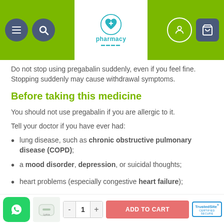pharmacy [logo header]
Do not stop using pregabalin suddenly, even if you feel fine. Stopping suddenly may cause withdrawal symptoms.
Before taking this medicine
You should not use pregabalin if you are allergic to it.
Tell your doctor if you have ever had:
lung disease, such as chronic obstructive pulmonary disease (COPD);
a mood disorder, depression, or suicidal thoughts;
heart problems (especially congestive heart failure);
ADD TO CART | 1 | TrustedSite CERTIFIED SECURE